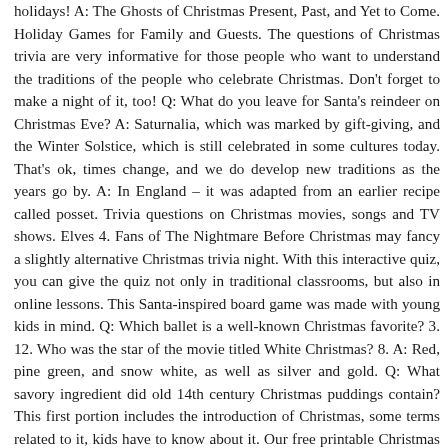holidays! A: The Ghosts of Christmas Present, Past, and Yet to Come. Holiday Games for Family and Guests. The questions of Christmas trivia are very informative for those people who want to understand the traditions of the people who celebrate Christmas. Don't forget to make a night of it, too! Q: What do you leave for Santa's reindeer on Christmas Eve? A: Saturnalia, which was marked by gift-giving, and the Winter Solstice, which is still celebrated in some cultures today. That's ok, times change, and we do develop new traditions as the years go by. A: In England – it was adapted from an earlier recipe called posset. Trivia questions on Christmas movies, songs and TV shows. Elves 4. Fans of The Nightmare Before Christmas may fancy a slightly alternative Christmas trivia night. With this interactive quiz, you can give the quiz not only in traditional classrooms, but also in online lessons. This Santa-inspired board game was made with young kids in mind. Q: Which ballet is a well-known Christmas favorite? 3. 12. Who was the star of the movie titled White Christmas? 8. A: Red, pine green, and snow white, as well as silver and gold. Q: What savory ingredient did old 14th century Christmas puddings contain? This first portion includes the introduction of Christmas, some terms related to it, kids have to know about it. Our free printable Christmas quiz sheets for kids provide you with twenty fun trivia and general knowledge Xmas questions all themed on Christmas traditions, characters.